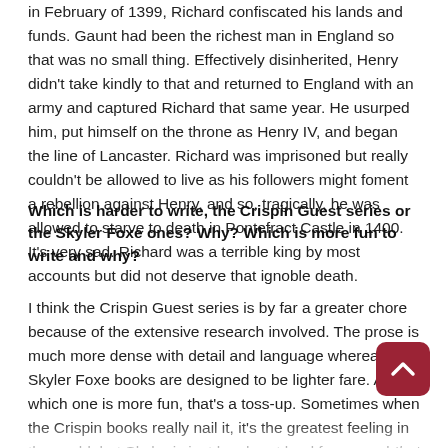in February of 1399, Richard confiscated his lands and funds. Gaunt had been the richest man in England so that was no small thing. Effectively disinherited, Henry didn't take kindly to that and returned to England with an army and captured Richard that same year. He usurped him, put himself on the throne as Henry IV, and began the line of Lancaster. Richard was imprisoned but really couldn't be allowed to live as his followers might foment a rebellion against Henry, and so, tragically, he was allowed to starve to death in Pontefract Castle in 1400. It's very sad. Richard was a terrible king by most accounts but did not deserve that ignoble death.
Which is harder to write, the Crispin Guest series or the Skyler Foxe ones? Why? Which is more fun to write and why?
I think the Crispin Guest series is by far a greater chore because of the extensive research involved. The prose is much more dense with detail and language whereas the Skyler Foxe books are designed to be lighter fare. As to which one is more fun, that's a toss-up. Sometimes when the Crispin books really nail it, it's the greatest feeling in the world, but Skyler is just laugh out loud funny, and that is great fun to write, too. Crispin is tough work but worth it, and